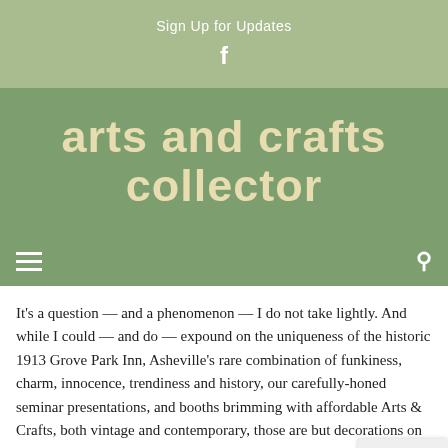Sign Up for Updates
ARTS AND CRAFTS COLLECTOR
It's a question — and a phenomenon — I do not take lightly. And while I could — and do — expound on the uniqueness of the historic 1913 Grove Park Inn, Asheville's rare combination of funkiness, charm, innocence, trendiness and history, our carefully-honed seminar presentations, and booths brimming with affordable Arts & Crafts, both vintage and contemporary, those are but decorations on the tree. Each contributes, but at the core is a simpl…
People don't collect Arts & Crafts because it's different.